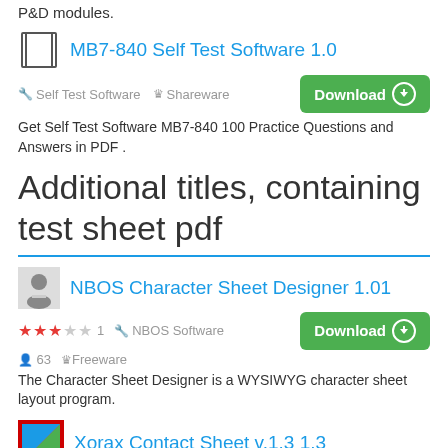P&D modules.
MB7-840 Self Test Software 1.0
Self Test Software   Shareware
Get Self Test Software MB7-840 100 Practice Questions and Answers in PDF .
Additional titles, containing test sheet pdf
NBOS Character Sheet Designer 1.01
★★★☆☆ 1   NBOS Software   63   Freeware
The Character Sheet Designer is a WYSIWYG character sheet layout program.
Xorax Contact Sheet v.1.3 1.3
KudrSoft   6   Shareware
Xorax Contact Sheet is a tool that generates a